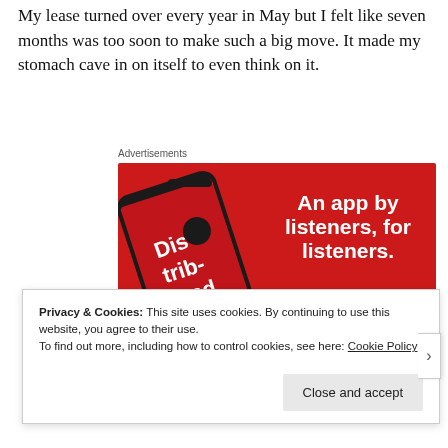My lease turned over every year in May but I felt like seven months was too soon to make such a big move. It made my stomach cave in on itself to even think on it.
Advertisements
[Figure (screenshot): Advertisement banner with red background showing a smartphone displaying a podcast app called 'Dis-trib-uted'. Text reads 'An app by listeners, for listeners.' with a 'Download now' button.]
Privacy & Cookies: This site uses cookies. By continuing to use this website, you agree to their use.
To find out more, including how to control cookies, see here: Cookie Policy